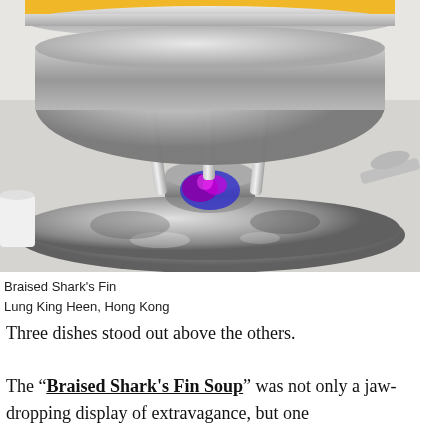[Figure (photo): A silver chafing dish or fondue stand with a blue and purple flame visible beneath a golden-amber soup bowl, placed on a round silver tray. A small white cup is visible at the left edge. Background is light gray/white.]
Braised Shark's Fin
Lung King Heen, Hong Kong
Three dishes stood out above the others.
The "Braised Shark's Fin Soup" was not only a jaw-dropping display of extravagance, but one